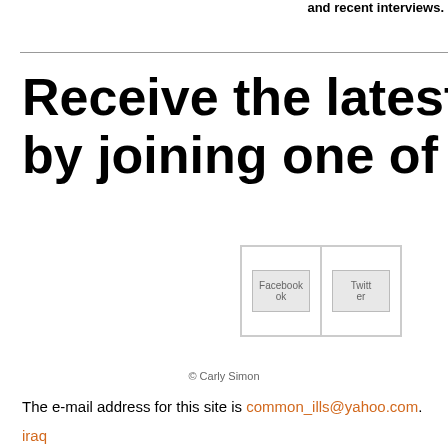and recent interviews.
Receive the latest break by joining one of the fo
[Figure (other): Facebook and Twitter social media icon placeholders in a bordered grid]
© Carly Simon
The e-mail address for this site is common_ills@yahoo.com.
iraq
the washington post
walter p...